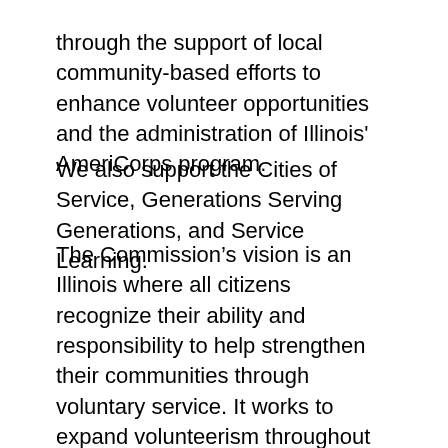through the support of local community-based efforts to enhance volunteer opportunities and the administration of Illinois' AmeriCorps program.
We also support the Cities of Service, Generations Serving Generations, and Service Learning.
The Commission's vision is an Illinois where all citizens recognize their ability and responsibility to help strengthen their communities through voluntary service. It works to expand volunteerism throughout rural, suburban, and urban Illinois, involving people of all backgrounds, cultures, ages, and abilities. Serve Illinois has an active “Disability Outreach” initiative.
Working under several federal laws, the Illinois Serve Illinois Commission Act charges the Commission to promote and support community service in Illinois, to integrate, promote, and the